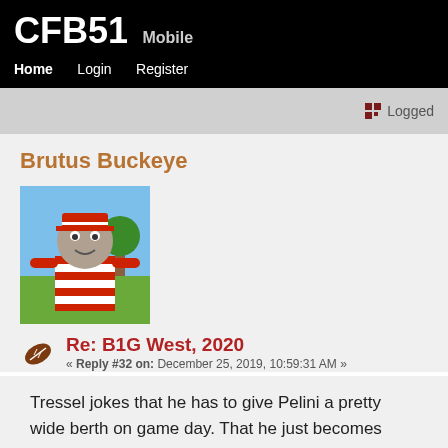CFB51 Mobile
Home  Login  Register
Logged
Brutus Buckeye
[Figure (illustration): Cartoon avatar of Brutus Buckeye mascot wearing red and white striped shirt]
Re: B1G West, 2020
« Reply #32 on: December 25, 2019, 10:59:31 AM »
Tressel jokes that he has to give Pelini a pretty wide berth on game day. That he just becomes completely maniacal.